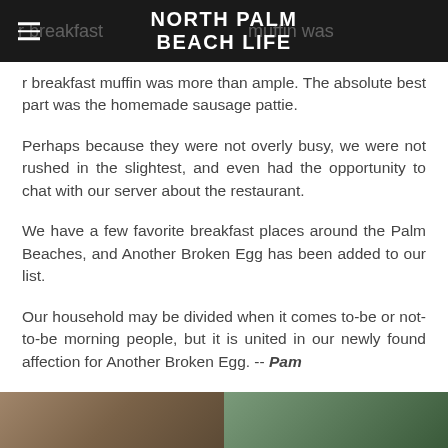NORTH PALM BEACH LIFE
r breakfast muffin was more than ample. The absolute best part was the homemade sausage pattie.
Perhaps because they were not overly busy, we were not rushed in the slightest, and even had the opportunity to chat with our server about the restaurant.
We have a few favorite breakfast places around the Palm Beaches, and Another Broken Egg has been added to our list.
Our household may be divided when it comes to-be or not-to-be morning people, but it is united in our newly found affection for Another Broken Egg. -- Pam
[Figure (photo): Two photos at the bottom of the page, partially cropped]